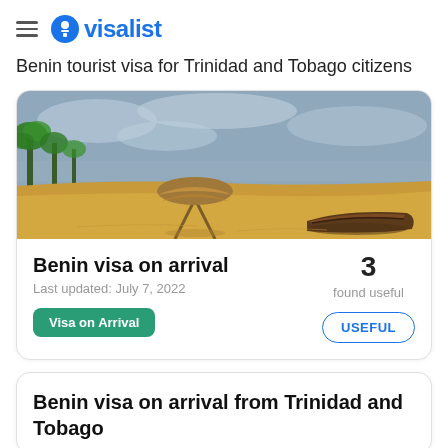visalist
Benin tourist visa for Trinidad and Tobago citizens
[Figure (photo): Beach scene in Benin with golden sand, a thatched-roof umbrella/hut structure, a wooden boat resting on the sand, and palm trees in the background under a cloudy sky.]
Benin visa on arrival
Last updated: July 7, 2022
Visa on Arrival
3 found useful
USEFUL
Benin visa on arrival from Trinidad and Tobago